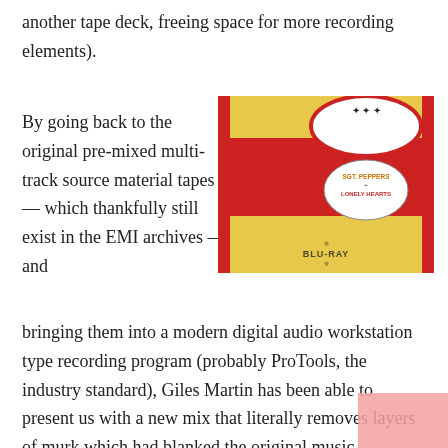another tape deck, freeing space for more recording elements).
By going back to the original pre-mixed multi-track source material tapes — which thankfully still exist in the EMI archives — and
[Figure (photo): Photo of the Sgt. Pepper's Lonely Hearts Club Band Blu-ray album packaging, showing a yellow and red sleeve with the circular logo label and 'BLU-RAY' text at the bottom.]
bringing them into a modern digital audio workstation type recording program (probably ProTools, the industry standard), Giles Martin has been able to present us with a new mix that literally removes layers of murk which had blanked the original music,